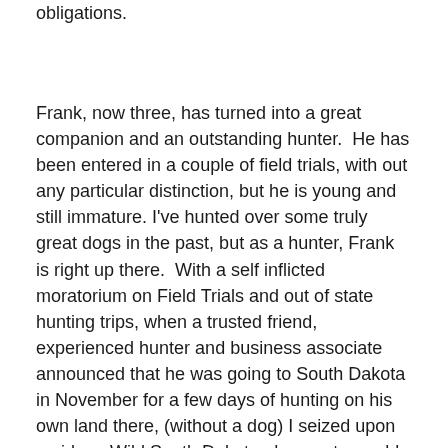obligations.
Frank, now three, has turned into a great companion and an outstanding hunter.  He has been entered in a couple of field trials, with out any particular distinction, but he is young and still immature. I've hunted over some truly great dogs in the past, but as a hunter, Frank is right up there.  With a self inflicted moratorium on Field Trials and out of state hunting trips, when a trusted friend, experienced hunter and business associate announced that he was going to South Dakota in November for a few days of hunting on his own land there, (without a dog) I seized upon an idea.  Wild South Dakota pheasants would be great for Frank. We spent several days with my training companions, and Jim (there are two Jims in this story)